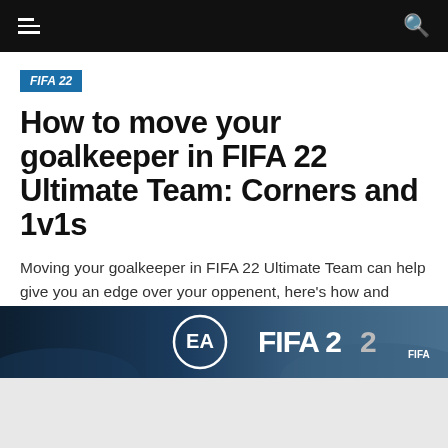Navigation bar with hamburger menu and search icon
FIFA 22
How to move your goalkeeper in FIFA 22 Ultimate Team: Corners and 1v1s
Moving your goalkeeper in FIFA 22 Ultimate Team can help give you an edge over your oppenent, here's how and when you should try it.
Published 10 months ago on November 1, 2021
By Nathan Warby
[Figure (photo): FIFA 22 EA Sports game banner/logo image at the bottom of the article header]